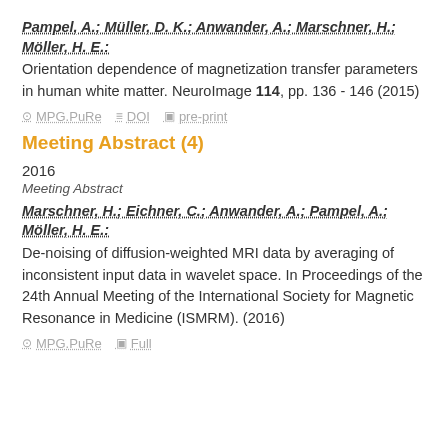Pampel, A.; Müller, D. K.; Anwander, A.; Marschner, H.; Möller, H. E.: Orientation dependence of magnetization transfer parameters in human white matter. NeuroImage 114, pp. 136 - 146 (2015)
MPG.PuRe   DOI   pre-print
Meeting Abstract (4)
2016
Meeting Abstract
Marschner, H.; Eichner, C.; Anwander, A.; Pampel, A.; Möller, H. E.: De-noising of diffusion-weighted MRI data by averaging of inconsistent input data in wavelet space. In Proceedings of the 24th Annual Meeting of the International Society for Magnetic Resonance in Medicine (ISMRM). (2016)
MPG.PuRe   Full